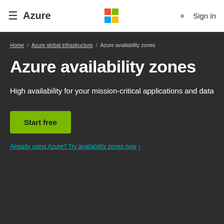≡ Azure  [Microsoft Logo]  🔍 Sign in
Home / Azure global infrastructure / Azure availability zones
Azure availability zones
High availability for your mission-critical applications and data
Start free
Already using Azure? Try availability zones now ›